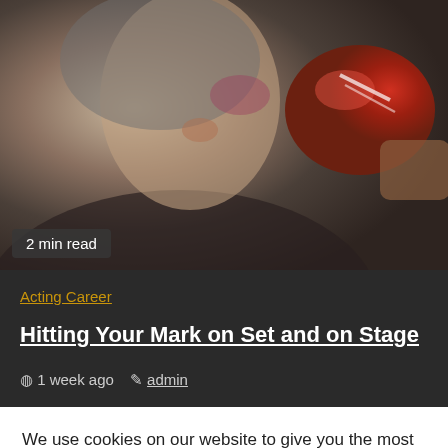[Figure (photo): An elderly man with grey hair and beard being punched in the face by a red boxing glove.]
2 min read
Acting Career
Hitting Your Mark on Set and on Stage
1 week ago  admin
We use cookies on our website to give you the most relevant experience by remembering your preferences and repeat visits. By clicking "Accept All", you consent to the use of ALL the cookies. However, you may visit "Cookie Settings" to provide a controlled consent.
Cookie Settings  Accept All